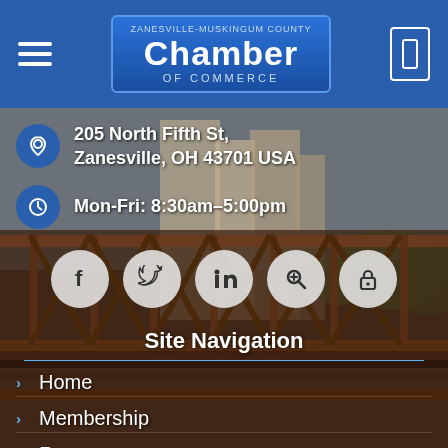Zanesville-Muskingum County Chamber of Commerce
205 North Fifth St, Zanesville, OH 43701 USA
Mon-Fri: 8:30am–5:00pm
[Figure (screenshot): Social media icons: Facebook, Twitter, LinkedIn, Search, Lock]
Site Navigation
Home
Membership
Resources
Advertising